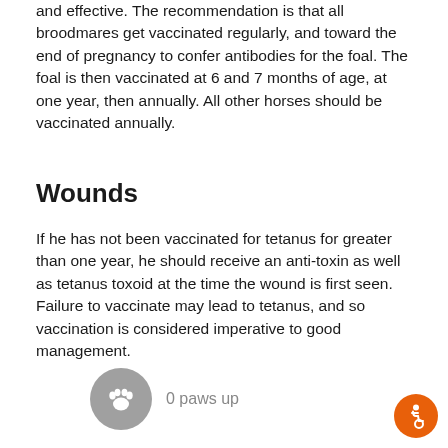and effective. The recommendation is that all broodmares get vaccinated regularly, and toward the end of pregnancy to confer antibodies for the foal. The foal is then vaccinated at 6 and 7 months of age, at one year, then annually. All other horses should be vaccinated annually.
Wounds
If he has not been vaccinated for tetanus for greater than one year, he should receive an anti-toxin as well as tetanus toxoid at the time the wound is first seen. Failure to vaccinate may lead to tetanus, and so vaccination is considered imperative to good management.
[Figure (other): A grey circle with a white paw print icon, followed by the text '0 paws up']